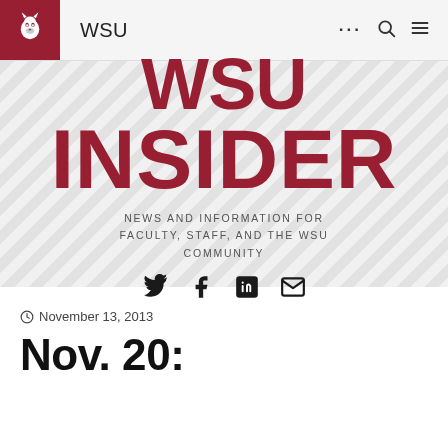[Figure (logo): WSU Cougar logo on crimson background, navigation bar with WSU text and icons]
[Figure (infographic): WSU Insider banner with diagonal stripe background. Large crimson bold text: WSU INSIDER. Tagline: NEWS AND INFORMATION FOR FACULTY, STAFF, AND THE WSU COMMUNITY. Social media icons: Twitter, Facebook, LinkedIn, Email.]
November 13, 2013
Nov. 20: